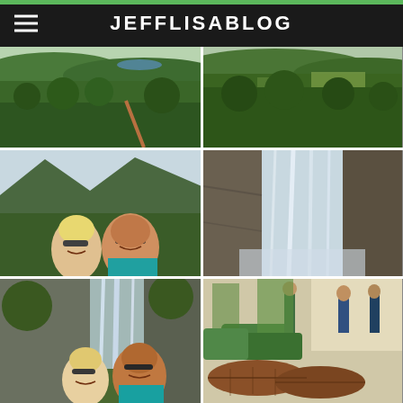JEFFLISABLOG
[Figure (photo): Aerial/elevated view of lush green tropical hillside landscape with trees and distant water]
[Figure (photo): Aerial/elevated view of green rolling hills and farmland in tropical setting]
[Figure (photo): Couple selfie — woman with blonde hair and sunglasses, man with sunglasses and teal shirt — in front of green mountain valley]
[Figure (photo): Tall waterfall cascading down rocky cliff face]
[Figure (photo): Couple selfie — same couple — in front of a large waterfall with lush greenery]
[Figure (photo): People and cargo/logs in an indoor or covered market/transport setting with green bags]